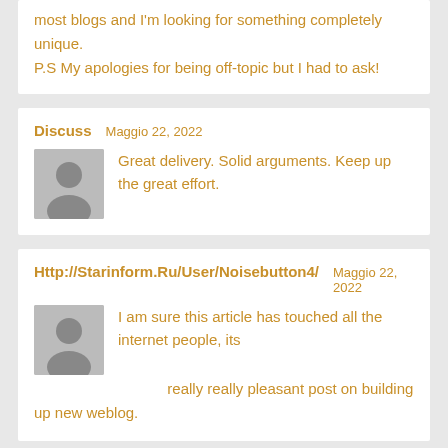most blogs and I'm looking for something completely unique. P.S My apologies for being off-topic but I had to ask!
Discuss   Maggio 22, 2022
Great delivery. Solid arguments. Keep up the great effort.
Http://Starinform.Ru/User/Noisebutton4/   Maggio 22, 2022
I am sure this article has touched all the internet people, its really really pleasant post on building up new weblog.
Https://Humanlove.Stream/Wiki/Believing_These_7_Myths_Abo
Maggio 22, 2022